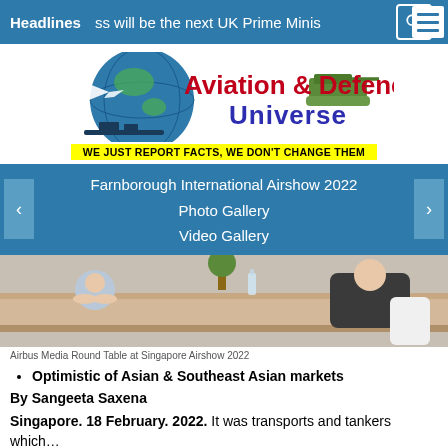Headlines  ss will be the next UK Prime Minis
[Figure (logo): Aviation & Defence Universe logo with globe, aircraft, tank and ships imagery, and tagline: WE JUST REPORT FACTS, WE DON'T CHANGE THEM]
Farnborough International Airshow 2022
Photo Gallery
Video Gallery
[Figure (photo): Airbus Media Round Table at Singapore Airshow 2022 — two people seated at a wooden table]
Airbus Media Round Table at Singapore Airshow 2022
Optimistic of Asian & Southeast Asian markets
By Sangeeta Saxena
Singapore. 18 February. 2022. It was transports and tankers which…